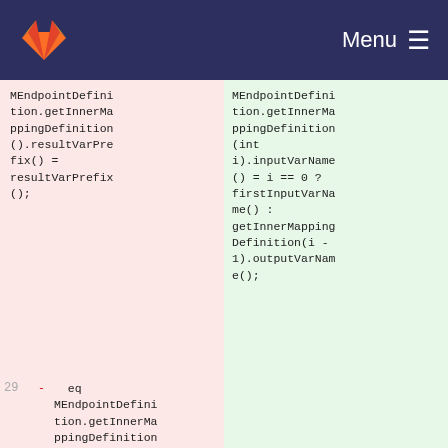GitLab logo | Menu
MEndpointDefinition.getInnerMappingDefinition().resultVarPrefix() = resultVarPrefix();
MEndpointDefinition.getInnerMappingDefinition(int i).inputVarName() = i == 0 ? firstInputVarName() : getInnerMappingDefinition(i - 1).outputVarName();
29  -   eq MEndpointDefinition.getInnerMappingDefinition(int i).inputVarName() = i == 0 ? firstInputVarNa